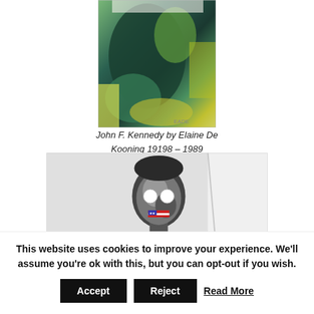[Figure (illustration): Abstract expressionist oil painting with green, teal, dark, and yellow brushstrokes — partial view of artwork cropped at top]
John F. Kennedy by Elaine De Kooning 19198 – 1989
[Figure (photo): Black and white photograph of a figure (head visible) with coin-like circles over eyes and an American flag motif at the mouth, against a light background]
This website uses cookies to improve your experience. We'll assume you're ok with this, but you can opt-out if you wish.
Accept   Reject   Read More